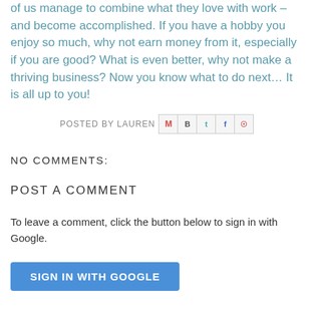of us manage to combine what they love with work – and become accomplished. If you have a hobby you enjoy so much, why not earn money from it, especially if you are good? What is even better, why not make a thriving business? Now you know what to do next… It is all up to you!
POSTED BY LAUREN [share icons: Email, BlogThis, Twitter, Facebook, Pinterest]
NO COMMENTS:
POST A COMMENT
To leave a comment, click the button below to sign in with Google.
SIGN IN WITH GOOGLE